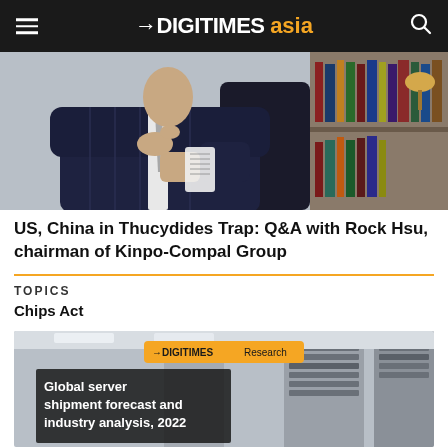DIGITIMES asia
[Figure (photo): Business executive in dark suit sitting in office chair, reading or holding a paper, bookshelves in background]
US, China in Thucydides Trap: Q&A with Rock Hsu, chairman of Kinpo-Compal Group
TOPICS
Chips Act
[Figure (illustration): DIGITIMES Research banner showing 'Global server shipment forecast and industry analysis, 2022' with server rack imagery in background]